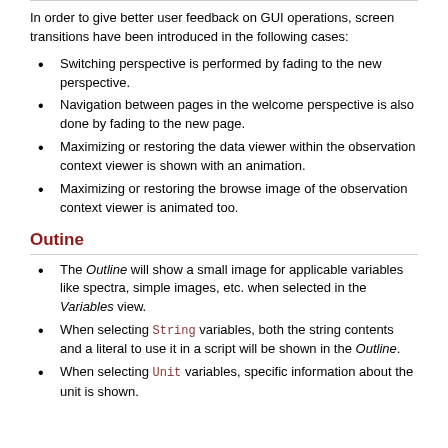In order to give better user feedback on GUI operations, screen transitions have been introduced in the following cases:
Switching perspective is performed by fading to the new perspective.
Navigation between pages in the welcome perspective is also done by fading to the new page.
Maximizing or restoring the data viewer within the observation context viewer is shown with an animation.
Maximizing or restoring the browse image of the observation context viewer is animated too.
Outine
The Outline will show a small image for applicable variables like spectra, simple images, etc. when selected in the Variables view.
When selecting String variables, both the string contents and a literal to use it in a script will be shown in the Outline.
When selecting Unit variables, specific information about the unit is shown.